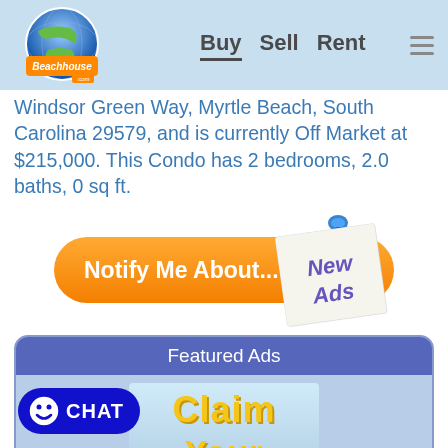[Figure (logo): Beachhouse.com logo with globe and orange/blue text, navigation links Buy, Sell, Rent]
Windsor Green Way, Myrtle Beach, South Carolina 29579, and is currently Off Market at $215,000. This Condo has 2 bedrooms, 2.0 baths, 0 sq ft.
[Figure (infographic): Orange pill-shaped button saying 'Notify Me About...' with a sticky note overlay showing 'New Ads' in blue text with a blue pushpin]
[Figure (infographic): Featured Ads section with blue header bar and 'Claim Your' yellow text banner advertisement]
[Figure (infographic): Chat button in bottom left with smiley face icon and CHAT text in white on dark blue rounded rectangle]